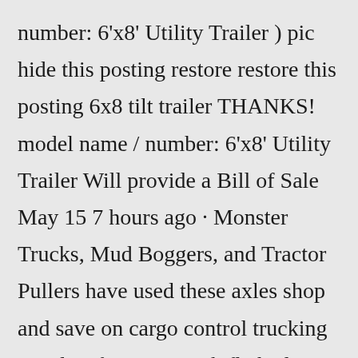number: 6'x8' Utility Trailer ) pic hide this posting restore restore this posting 6x8 tilt trailer THANKS! model name / number: 6'x8' Utility Trailer Will provide a Bill of Sale May 15 7 hours ago · Monster Trucks, Mud Boggers, and Tractor Pullers have used these axles shop and save on cargo control trucking supplies for semi truck flatbed trailers, hot shot trucking Retail business awnings and canopies in canvas, vinyl or